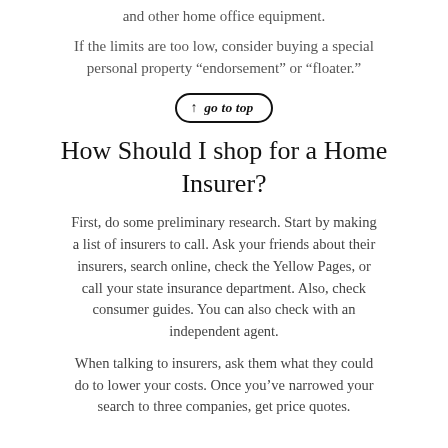and other home office equipment.
If the limits are too low, consider buying a special personal property „ndorsement” or “floater.”
[Figure (other): Go to top button with upward arrow icon, oval/pill shaped border]
How Should I shop for a Home Insurer?
First, do some preliminary research. Start by making a list of insurers to call. Ask your friends about their insurers, search online, check the Yellow Pages, or call your state insurance department. Also, check consumer guides. You can also check with an independent agent.
When talking to insurers, ask them what they could do to lower your costs. Once you’ve narrowed your search to three companies, get price quotes.